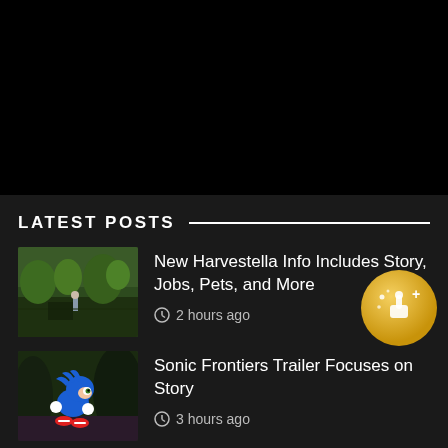[Figure (photo): Dark/black area at top of page, appears to be a cropped image area or hero image region that is mostly black]
LATEST POSTS
[Figure (photo): Thumbnail image of Harvestella game scene - outdoor green environment with a character figure]
New Harvestella Info Includes Story, Jobs, Pets, and More
2 hours ago
[Figure (logo): Gold circular badge with a joystick/controller icon and plus symbol]
[Figure (photo): Thumbnail image of Sonic the Hedgehog (blue) character in Sonic Frontiers game]
Sonic Frontiers Trailer Focuses on Story
3 hours ago